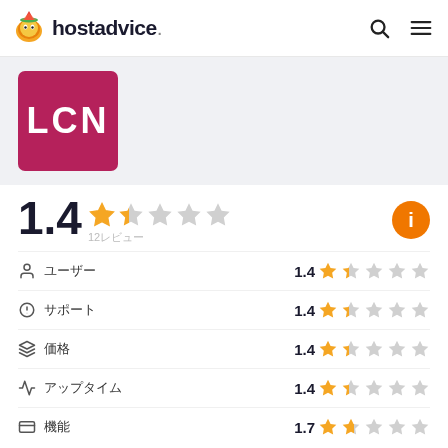hostadvice.
[Figure (logo): LCN logo — white text LCN on magenta/crimson square background]
1.4  12 reviews — overall rating with stars
ユーザー  1.4 stars
サポート  1.4 stars
価格  1.4 stars
アップタイム  1.4 stars
機能  1.7 stars